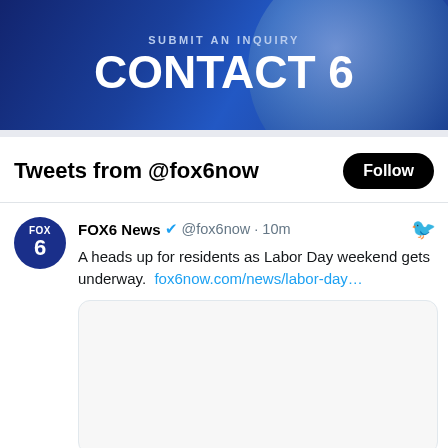[Figure (screenshot): FOX6 'Submit an Inquiry / CONTACT 6' banner with dark blue globe-like graphic and white text]
Tweets from @fox6now
Follow
FOX6 News ✓ @fox6now · 10m
A heads up for residents as Labor Day weekend gets underway.  fox6now.com/news/labor-day…
[Figure (photo): Embedded tweet image placeholder (white/light grey box)]